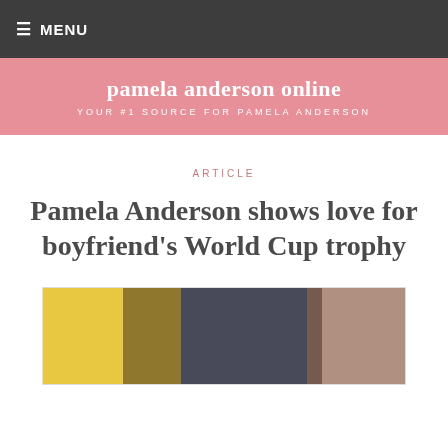≡ MENU
pamela anderson online
YOUR #1 SOURCE FOR PAMELA ANDERSON
ARTICLE
Pamela Anderson shows love for boyfriend's World Cup trophy
[Figure (photo): Photo of a man (boyfriend) with a World Cup trophy, partially visible, with blonde hair at bottom left suggesting Pamela Anderson is also present]